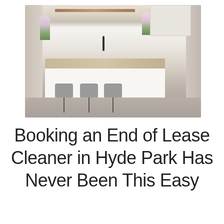[Figure (photo): A modern white kitchen with a large island topped with light wood countertop, three grey upholstered bar stools with black metal legs, white cabinetry, flowers, and wooden wall panels in the background.]
Booking an End of Lease Cleaner in Hyde Park Has Never Been This Easy